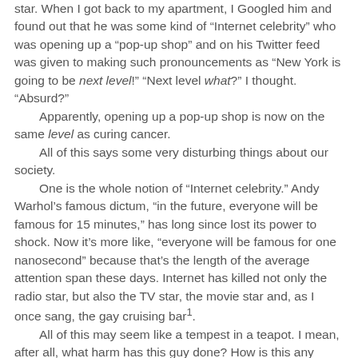star. When I got back to my apartment, I Googled him and found out that he was some kind of “Internet celebrity” who was opening up a “pop-up shop” and on his Twitter feed was given to making such pronouncements as “New York is going to be next level!” “Next level what?” I thought. “Absurd?”
    Apparently, opening up a pop-up shop is now on the same level as curing cancer.
    All of this says some very disturbing things about our society.
    One is the whole notion of “Internet celebrity.” Andy Warhol’s famous dictum, “in the future, everyone will be famous for 15 minutes,” has long since lost its power to shock. Now it’s more like, “everyone will be famous for one nanosecond” because that’s the length of the average attention span these days. Internet has killed not only the radio star, but also the TV star, the movie star and, as I once sang, the gay cruising bar¹.
    All of this may seem like a tempest in a teapot. I mean, after all, what harm has this guy done? How is this any